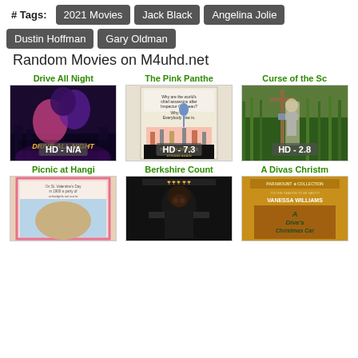# Tags: 2021 Movies  Jack Black  Angelina Jolie  Dustin Hoffman  Gary Oldman
Random Movies on M4uhd.net
[Figure (other): Drive All Night movie poster thumbnail with HD - N/A badge]
[Figure (other): The Pink Panther Strikes Again movie poster thumbnail with HD - 7.3 badge]
[Figure (other): Curse of the Scarecrow movie poster thumbnail with HD - 2.8 badge]
[Figure (other): Picnic at Hanging Rock movie poster thumbnail (partial)]
[Figure (other): Berkshire County movie poster thumbnail (partial)]
[Figure (other): A Diva's Christmas Carol movie poster thumbnail (partial)]